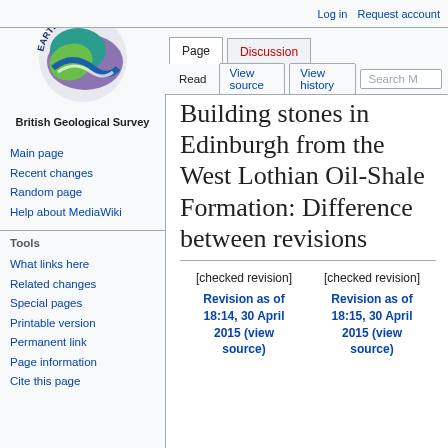Log in  Request account
[Figure (logo): Earthwise British Geological Survey logo - circular emblem with green leaf, teal and purple wave shapes, text EARTHWISE around top]
British Geological Survey
Main page
Recent changes
Random page
Help about MediaWiki
Tools
What links here
Related changes
Special pages
Printable version
Permanent link
Page information
Cite this page
Building stones in Edinburgh from the West Lothian Oil-Shale Formation: Difference between revisions
| [checked revision] | [checked revision] |
| --- | --- |
| Revision as of 18:14, 30 April 2015 (view source) | Revision as of 18:15, 30 April 2015 (view source) |